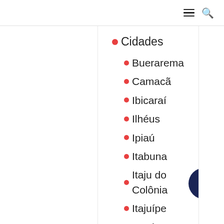≡ 🔍
• Cidades
• Buerarema
• Camacã
• Ibicaraí
• Ilhéus
• Ipiaú
• Itabuna
• Itaju do Colônia
• Itajuípe
• Itapé
• Jequié